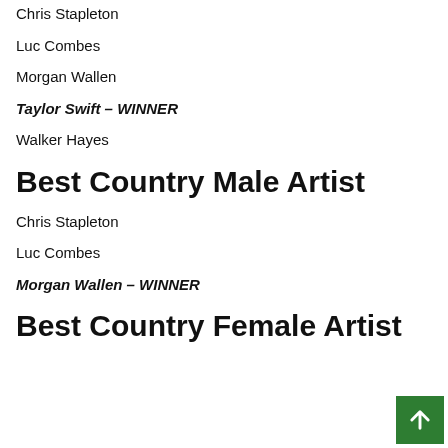Chris Stapleton
Luc Combes
Morgan Wallen
Taylor Swift – WINNER
Walker Hayes
Best Country Male Artist
Chris Stapleton
Luc Combes
Morgan Wallen – WINNER
Best Country Female Artist